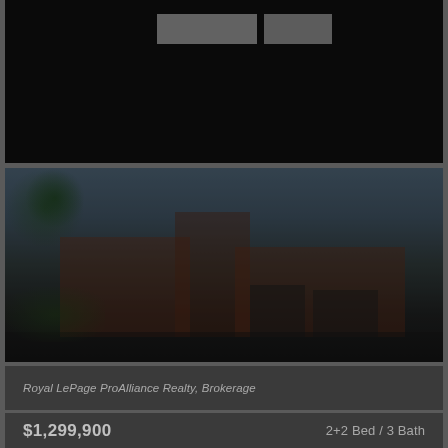[Figure (photo): Dark top section with two buttons/thumbnails visible]
[Figure (photo): Exterior photo of a red brick residential house with two-car garage and landscaping, partially darkened overlay]
Royal LePage ProAlliance Realty, Brokerage
$1,299,900
2+2 Bed / 3 Bath